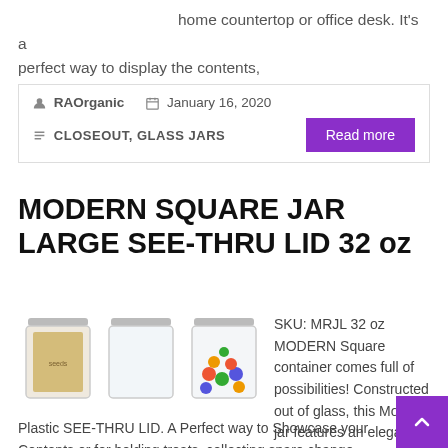home countertop or office desk. It's a perfect way to display the contents,
RAOrganic   January 16, 2020   CLOSEOUT, GLASS JARS
MODERN SQUARE JAR LARGE SEE-THRU LID 32 oz
[Figure (photo): Three glass square jars — one filled with seeds/grains, one empty, one filled with colorful M&M candies — with silver lids]
SKU: MRJL 32 oz MODERN Square container comes full of possibilities! Constructed out of glass, this Modern jar features an elegant design and a Plastic SEE-THRU LID. A Perfect way to Showcase your Contents or for holding treats, collecting spare change, and using